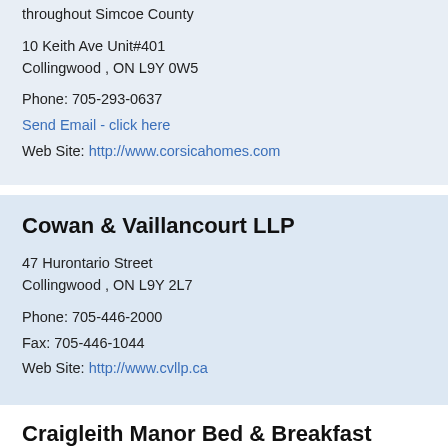throughout Simcoe County
10 Keith Ave Unit#401
Collingwood , ON L9Y 0W5
Phone: 705-293-0637
Send Email - click here
Web Site: http://www.corsicahomes.com
Cowan & Vaillancourt LLP
47 Hurontario Street
Collingwood , ON L9Y 2L7
Phone: 705-446-2000
Fax: 705-446-1044
Web Site: http://www.cvllp.ca
Craigleith Manor Bed & Breakfast